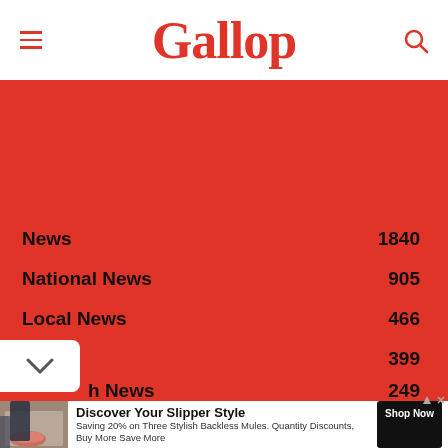Gallup
News 1840
National News 905
Local News 466
Living 399
h News 249
[Figure (other): Advertisement for Tinstree.com showing slipper shoes]
Discover Your Slipper Style
Saving 20% on Three Stylish Backless Mules. Quantity Discounts, Buy More Save More
Shop Now
Tinstree.com